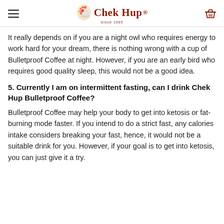Chek Hup logo with hamburger menu and basket icon
It really depends on if you are a night owl who requires energy to work hard for your dream, there is nothing wrong with a cup of Bulletproof Coffee at night. However, if you are an early bird who requires good quality sleep, this would not be a good idea.
5. Currently I am on intermittent fasting, can I drink Chek Hup Bulletproof Coffee?
Bulletproof Coffee may help your body to get into ketosis or fat-burning mode faster. If you intend to do a strict fast, any calories intake considers breaking your fast, hence, it would not be a suitable drink for you. However, if your goal is to get into ketosis, you can just give it a try.